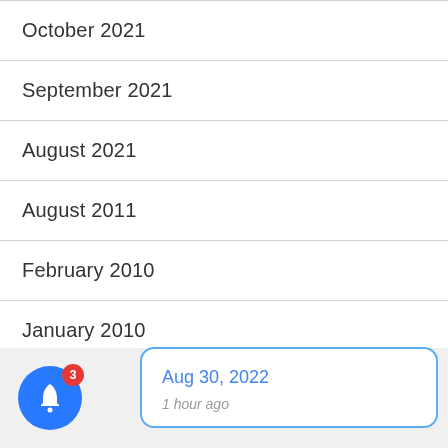October 2021
September 2021
August 2021
August 2011
February 2010
January 2010
[Figure (screenshot): Notification popup showing 'Aug 30, 2022' in blue text with '1 hour ago' subtitle, with a close X button, overlaying a blue bell icon with red badge showing 3]
Aug 30, 2022
1 hour ago